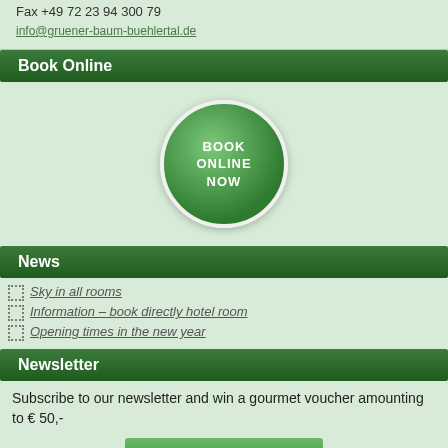Fax +49 72 23 94 300 79
info@gruener-baum-buehlertal.de
Book Online
[Figure (illustration): Green circular button with white border and text 'BOOK ONLINE NOW' in white uppercase letters]
News
Sky in all rooms
Information – book directly hotel room
Opening times in the new year
Newsletter
Subscribe to our newsletter and win a gourmet voucher amounting to € 50,-
Now request for free